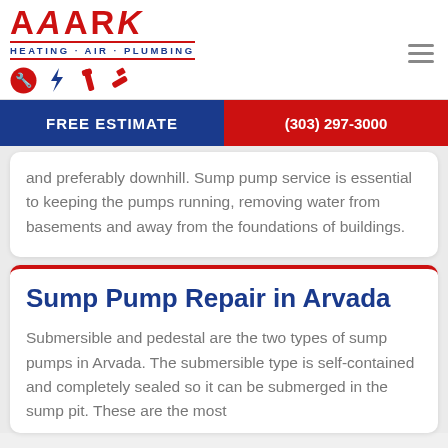[Figure (logo): AAARK Heating Air Plumbing logo with red text and service icons]
FREE ESTIMATE | (303) 297-3000
and preferably downhill. Sump pump service is essential to keeping the pumps running, removing water from basements and away from the foundations of buildings.
Sump Pump Repair in Arvada
Submersible and pedestal are the two types of sump pumps in Arvada. The submersible type is self-contained and completely sealed so it can be submerged in the sump pit. These are the most